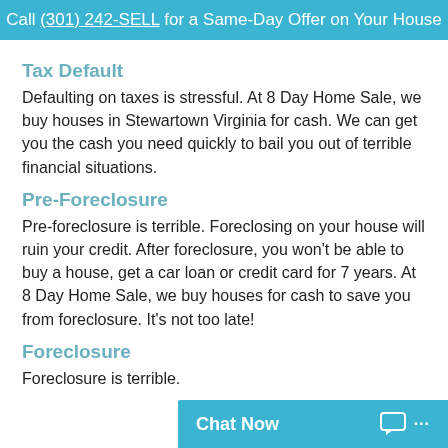Call (301) 242-SELL for a Same-Day Offer on Your House
Tax Default
Defaulting on taxes is stressful. At 8 Day Home Sale, we buy houses in Stewartown Virginia for cash. We can get you the cash you need quickly to bail you out of terrible financial situations.
Pre-Foreclosure
Pre-foreclosure is terrible. Foreclosing on your house will ruin your credit. After foreclosure, you won't be able to buy a house, get a car loan or credit card for 7 years. At 8 Day Home Sale, we buy houses for cash to save you from foreclosure. It's not too late!
Foreclosure
Foreclosure is terrible...